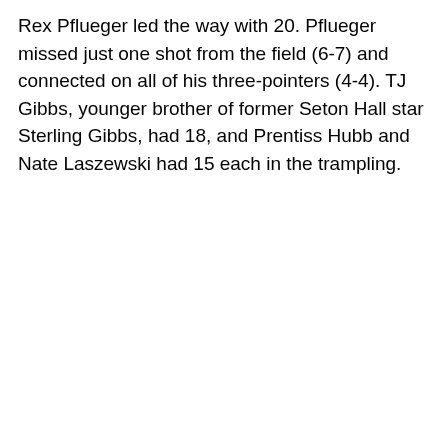Rex Pflueger led the way with 20. Pflueger missed just one shot from the field (6-7) and connected on all of his three-pointers (4-4). TJ Gibbs, younger brother of former Seton Hall star Sterling Gibbs, had 18, and Prentiss Hubb and Nate Laszewski had 15 each in the trampling.